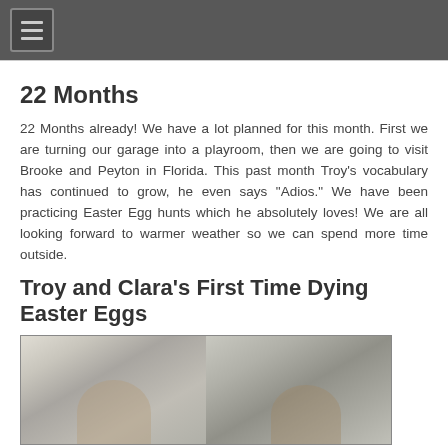22 Months
22 Months already! We have a lot planned for this month. First we are turning our garage into a playroom, then we are going to visit Brooke and Peyton in Florida. This past month Troy's vocabulary has continued to grow, he even says "Adios." We have been practicing Easter Egg hunts which he absolutely loves! We are all looking forward to warmer weather so we can spend more time outside.
Troy and Clara's First Time Dying Easter Eggs
[Figure (photo): Two young children at a table, presumably dyeing Easter eggs]